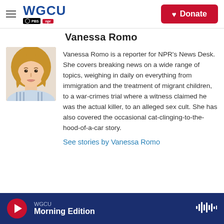WGCU PBS NPR | Donate
Vanessa Romo
[Figure (photo): Headshot photo of Vanessa Romo, a woman with long wavy blonde hair, smiling, wearing a light blue and white striped shirt against a white background.]
Vanessa Romo is a reporter for NPR's News Desk. She covers breaking news on a wide range of topics, weighing in daily on everything from immigration and the treatment of migrant children, to a war-crimes trial where a witness claimed he was the actual killer, to an alleged sex cult. She has also covered the occasional cat-clinging-to-the-hood-of-a-car story.
See stories by Vanessa Romo
WGCU Morning Edition